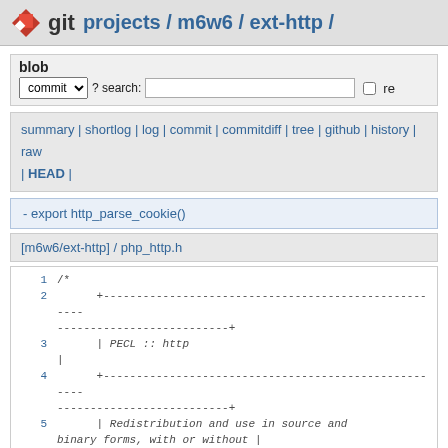git  projects / m6w6 / ext-http /
blob
commit ▾ ? search:  □ re
summary | shortlog | log | commit | commitdiff | tree | github | history | raw | HEAD |
- export http_parse_cookie()
[m6w6/ext-http] / php_http.h
1  /*
2       +-------------------------------------...----+
3       | PECL :: http                                |
4       +-------------------------------------...----+
5       | Redistribution and use in source and binary forms, with or without |
6  ...